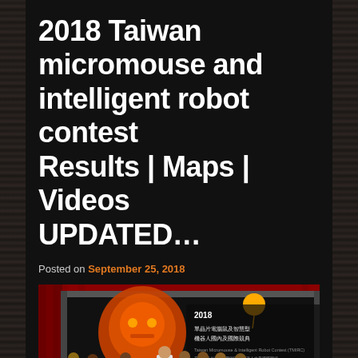2018 Taiwan micromouse and intelligent robot contest Results | Maps | Videos UPDATED…
Posted on September 25, 2018
[Figure (photo): Group photo at the 2018 Taiwan Micromouse and Intelligent Robot Contest. Several participants standing in front of a large banner/backdrop with the contest logo and Chinese text. Some participants are holding prize certificates/signs showing amounts NT$30,000, NT$20,000, NT$10,000. The backdrop shows a large robotic/mechanical graphic in orange and red with a red curtain in the background.]